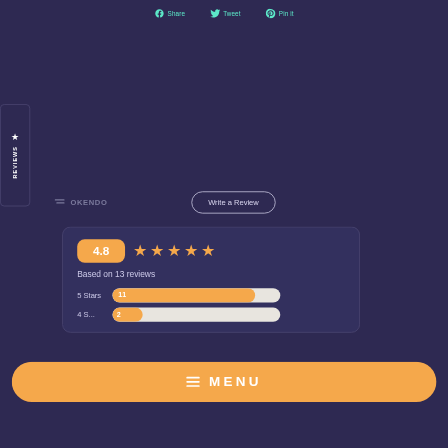Share  Tweet  Pin it
★ REVIEWS
≡ OKENDO
Write a Review
4.8 ★★★★★
Based on 13 reviews
5 Stars  11
≡ MENU